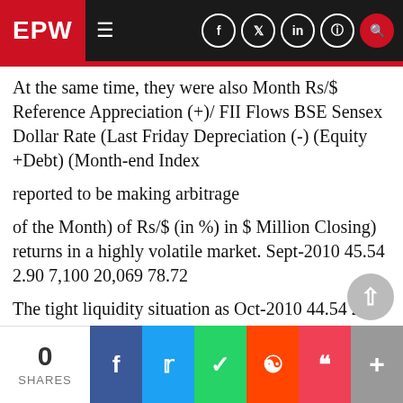EPW
At the same time, they were also Month Rs/$ Reference Appreciation (+)/ FII Flows BSE Sensex Dollar Rate (Last Friday Depreciation (-) (Equity +Debt) (Month-end Index
reported to be making arbitrage
of the Month) of Rs/$ (in %) in $ Million Closing) returns in a highly volatile market. Sept-2010 45.54 2.90 7,100 20,069 78.72
The tight liquidity situation as Oct-2010 44.54 2.25 5,468 20,032 77.27
observed by the tendered amount Nov-2010 4